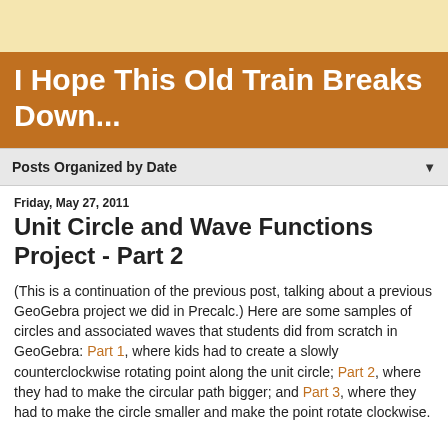I Hope This Old Train Breaks Down...
Posts Organized by Date
Friday, May 27, 2011
Unit Circle and Wave Functions Project - Part 2
(This is a continuation of the previous post, talking about a previous GeoGebra project we did in Precalc.) Here are some samples of circles and associated waves that students did from scratch in GeoGebra: Part 1, where kids had to create a slowly counterclockwise rotating point along the unit circle; Part 2, where they had to make the circular path bigger; and Part 3, where they had to make the circle smaller and make the point rotate clockwise.